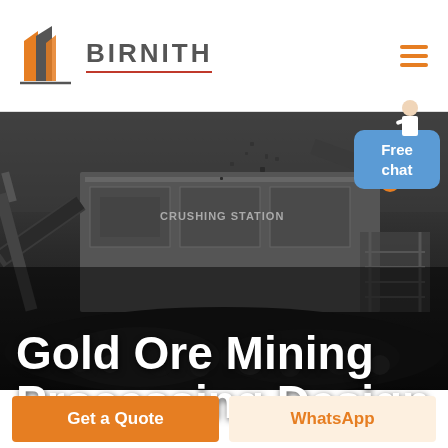[Figure (logo): Birnith company logo with orange and grey building/architecture icon and the text BIRNITH with a red underline, plus a hamburger menu icon in orange on the right]
[Figure (photo): Dark industrial background photo showing a crushing station with heavy mining machinery, conveyor belts, and rocks/ore material being processed]
Gold Ore Mining Processing Design
[Figure (infographic): Blue rounded rectangle chat button with text 'Free chat' and a customer service person figure beside it]
Get a Quote
WhatsApp